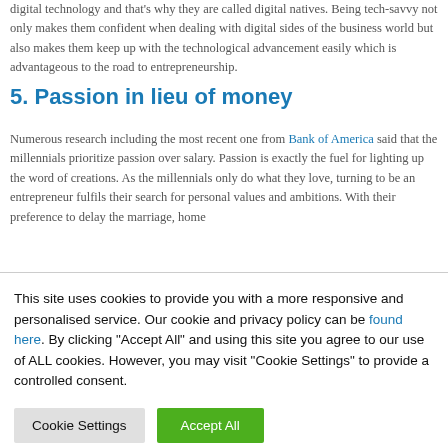digital technology and that's why they are called digital natives. Being tech-savvy not only makes them confident when dealing with digital sides of the business world but also makes them keep up with the technological advancement easily which is advantageous to the road to entrepreneurship.
5. Passion in lieu of money
Numerous research including the most recent one from Bank of America said that the millennials prioritize passion over salary. Passion is exactly the fuel for lighting up the word of creations. As the millennials only do what they love, turning to be an entrepreneur fulfils their search for personal values and ambitions. With their preference to delay the marriage, home
This site uses cookies to provide you with a more responsive and personalised service. Our cookie and privacy policy can be found here. By clicking "Accept All" and using this site you agree to our use of ALL cookies. However, you may visit "Cookie Settings" to provide a controlled consent.